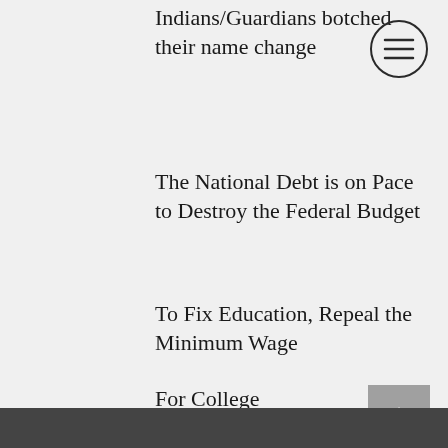Indians/Guardians botched their name change
[Figure (other): Hamburger menu icon — three horizontal lines inside a circle]
The National Debt is on Pace to Destroy the Federal Budget
To Fix Education, Repeal the Minimum Wage
For College Admissions, Bring Back the SAT and ACT
[Figure (other): Back-to-top button — upward chevron arrow on grey square background]